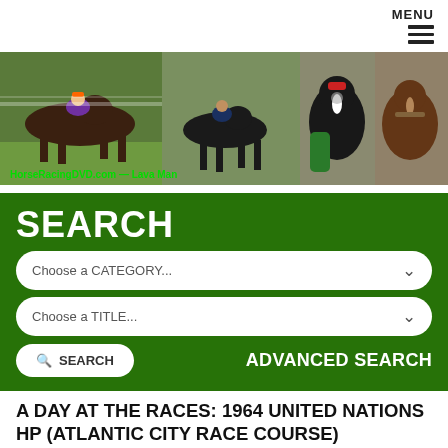MENU
[Figure (photo): Banner with multiple horse racing photos showing horses racing on track, a jockey in purple colors, horses being led. Caption reads: HorseRacingDVD.com — Lava Man]
SEARCH
Choose a CATEGORY...
Choose a TITLE...
SEARCH
ADVANCED SEARCH
A DAY AT THE RACES: 1964 UNITED NATIONS HP (ATLANTIC CITY RACE COURSE)